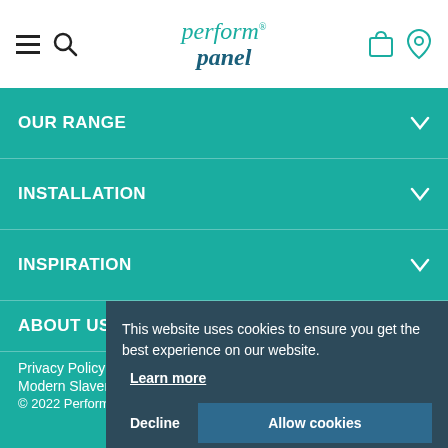perform panel - website header with navigation icons
OUR RANGE
INSTALLATION
INSPIRATION
ABOUT US
This website uses cookies to ensure you get the best experience on our website. Learn more
Privacy Policy
Modern Slavery Statement 2021
© 2022 Perform Panel, NU Style Products Ltd.